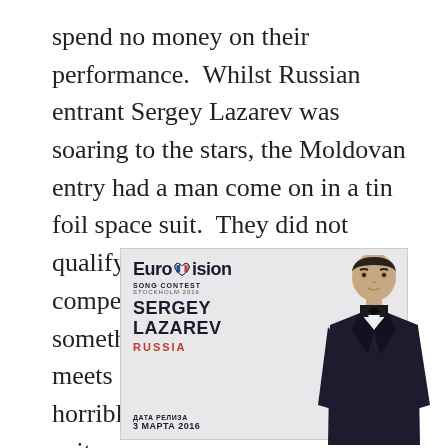spend no money on their performance.  Whilst Russian entrant Sergey Lazarev was soaring to the stars, the Moldovan entry had a man come on in a tin foil space suit.  They did not qualify.  Greece, usually competitive, also decided to do something very odd with a rap meets folk blend which was fairly horrible and saw them bid an early exit.
[Figure (photo): Eurovision Song Contest Stockholm 2016 promotional poster for Sergey Lazarev representing Russia. Shows the Eurovision logo with a heart, text 'SERGEY LAZAREV' in bold, 'RUSSIA' in red, and a man in a dark suit with bow tie. Russian text at bottom: ДАТА РЕЛИЗА / 3 МАРТА 2016]